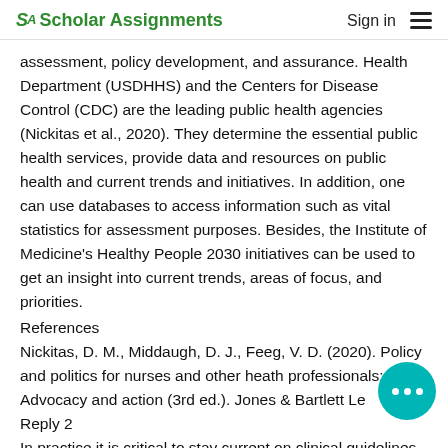SA Scholar Assignments   Sign in ☰
assessment, policy development, and assurance. Health Department (USDHHS) and the Centers for Disease Control (CDC) are the leading public health agencies (Nickitas et al., 2020). They determine the essential public health services, provide data and resources on public health and current trends and initiatives. In addition, one can use databases to access information such as vital statistics for assessment purposes. Besides, the Institute of Medicine's Healthy People 2030 initiatives can be used to get an insight into current trends, areas of focus, and priorities.
References
Nickitas, D. M., Middaugh, D. J., Feeg, V. D. (2020). Policy and politics for nurses and other heath professionals: Advocacy and action (3rd ed.). Jones & Bartlett Le
Reply 2
In practice it is critical to stay current on clinical guidelines,